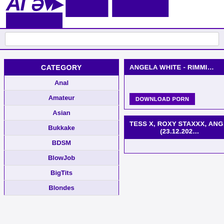Al ...
| CATEGORY |
| --- |
| Anal |
| Amateur |
| Asian |
| Bukkake |
| BDSM |
| BlowJob |
| BigTits |
| Blondes |
ANGELA WHITE - RIMMI...
DOWNLOAD PORN
TESS X, ROXY STAXXX, ANG... (23.12.202...